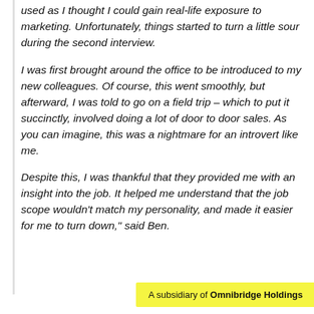used as I thought I could gain real-life exposure to marketing. Unfortunately, things started to turn a little sour during the second interview.
I was first brought around the office to be introduced to my new colleagues. Of course, this went smoothly, but afterward, I was told to go on a field trip – which to put it succinctly, involved doing a lot of door to door sales. As you can imagine, this was a nightmare for an introvert like me.
Despite this, I was thankful that they provided me with an insight into the job. It helped me understand that the job scope wouldn't match my personality, and made it easier for me to turn down," said Ben.
A subsidiary of Omnibridge Holdings